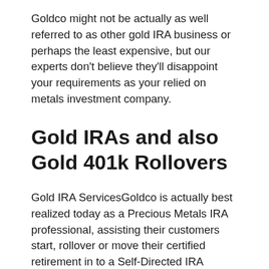Goldco might not be actually as well referred to as other gold IRA business or perhaps the least expensive, but our experts don't believe they'll disappoint your requirements as your relied on metals investment company.
Gold IRAs and also Gold 401k Rollovers
Gold IRA ServicesGoldco is actually best realized today as a Precious Metals IRA professional, assisting their customers start, rollover or move their certified retirement in to a Self-Directed IRA including a reasonable portion of bodily rare-earth elements as a hedge against present and potential financial anxieties.